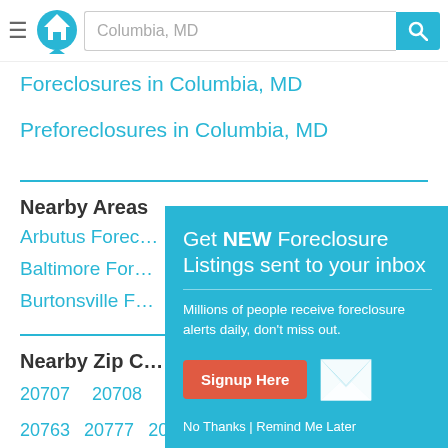[Figure (screenshot): Website header with hamburger menu, house logo in teal circle, search bar showing 'Columbia, MD', and teal search button with magnifier icon]
Foreclosures in Columbia, MD
Preforeclosures in Columbia, MD
Nearby Areas
Arbutus Forec…
Baltimore For…
Burtonsville F…
Nearby Zip C…
20707  20708
20763  20777  20794  20866  20868  20904
[Figure (screenshot): Popup overlay in teal: 'Get NEW Foreclosure Listings sent to your inbox' with subtitle 'Millions of people receive foreclosure alerts daily, don't miss out.' A red 'Signup Here' button, envelope icon, and 'No Thanks | Remind Me Later' link.]